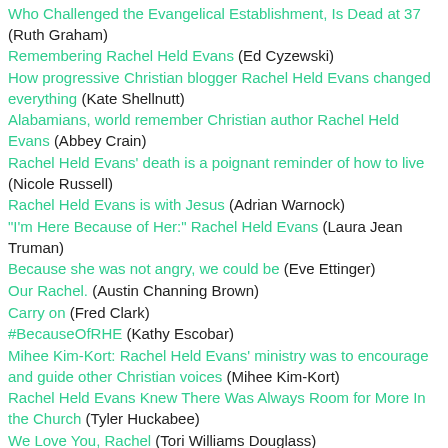Who Challenged the Evangelical Establishment, Is Dead at 37 (Ruth Graham)
Remembering Rachel Held Evans (Ed Cyzewski)
How progressive Christian blogger Rachel Held Evans changed everything (Kate Shellnutt)
Alabamians, world remember Christian author Rachel Held Evans (Abbey Crain)
Rachel Held Evans' death is a poignant reminder of how to live (Nicole Russell)
Rachel Held Evans is with Jesus (Adrian Warnock)
"I'm Here Because of Her:" Rachel Held Evans (Laura Jean Truman)
Because she was not angry, we could be (Eve Ettinger)
Our Rachel. (Austin Channing Brown)
Carry on (Fred Clark)
#BecauseOfRHE (Kathy Escobar)
Mihee Kim-Kort: Rachel Held Evans' ministry was to encourage and guide other Christian voices (Mihee Kim-Kort)
Rachel Held Evans Knew There Was Always Room for More In the Church (Tyler Huckabee)
We Love You, Rachel (Tori Williams Douglass)